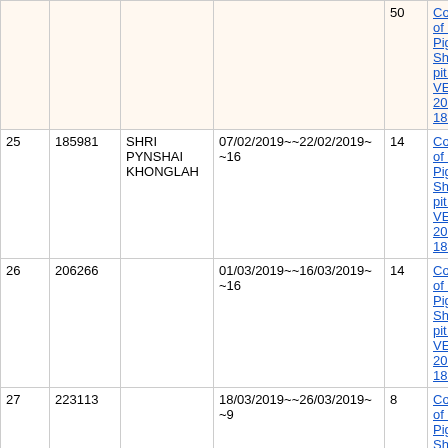| # | ID | Name | Date Range | Days | Description |
| --- | --- | --- | --- | --- | --- |
|  |  |  |  | 50 | Construction of 2 Nos Piggery Shed & Soak pit at Lamin VEC WO 2018 19 IF 185 |
| 25 | 185981 | SHRI PYNSHAI KHONGLAH | 07/02/2019~~22/02/2019~~16 | 14 | Construction of 2 Nos Piggery Shed & Soak pit at Lamin VEC WO 2018 19 IF 185 |
| 26 | 206266 |  | 01/03/2019~~16/03/2019~~16 | 14 | Construction of 2 Nos Piggery Shed & Soak pit at Lamin VEC WO 2018 19 IF 185 |
| 27 | 223113 |  | 18/03/2019~~26/03/2019~~9 | 8 | Construction of 2 Nos Piggery Shed & Soak pit at Lamin VEC WO 2018 19 IF 185 |
| 28 | 12724 | SMT ENITA KHONGLAH | 26/04/2019~~11/05/2019~~16 | 14 | Construction of 2 Nos Piggery Shed & Soak pit at Lamin VEC WO 2018 19 IF 185 |